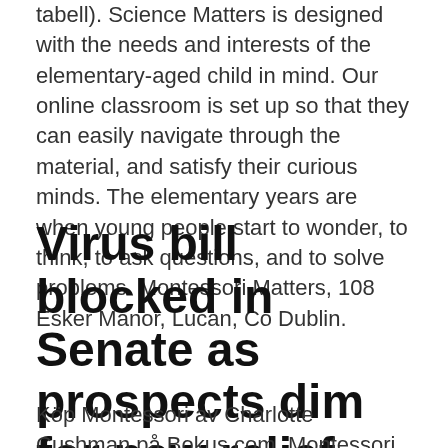tabell). Science Matters is designed with the needs and interests of the elementary-aged child in mind. Our online classroom is set up so that they can easily navigate through the material, and satisfy their curious minds. The elementary years are when young people start to wonder, to think, to ask questions, and to solve problems. Montessori Matters, 108 Esker Manor, Lucan, Co Dublin.
Virus bill blocked in Senate as prospects dim for new relief
Köp Montessori av Charlotte Cushman på Bokus.com. Montessori. Why It Matters for Your